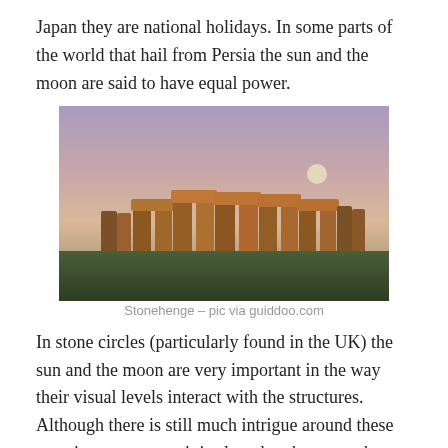Japan they are national holidays. In some parts of the world that hail from Persia the sun and the moon are said to have equal power.
[Figure (photo): Photograph of Stonehenge at dusk/dawn with a pinkish-purple sky and a full moon visible in the background. The ancient stone circle structure is silhouetted in warm golden-orange tones.]
Stonehenge – pic via guiddoo.com
In stone circles (particularly found in the UK) the sun and the moon are very important in the way their visual levels interact with the structures. Although there is still much intrigue around these amazing structures,  it is clear that the ones who built these circles had wonderful knowledge